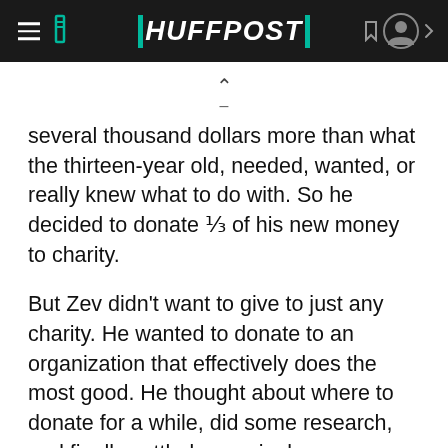HUFFPOST
several thousand dollars more than what the thirteen-year old, needed, wanted, or really knew what to do with. So he decided to donate ⅓ of his new money to charity.
But Zev didn't want to give to just any charity. He wanted to donate to an organization that effectively does the most good. He thought about where to donate for a while, did some research, and finally settled on a single organization. You might think that Zev would choose a complicated technocratic intervention, or perhaps help fund a